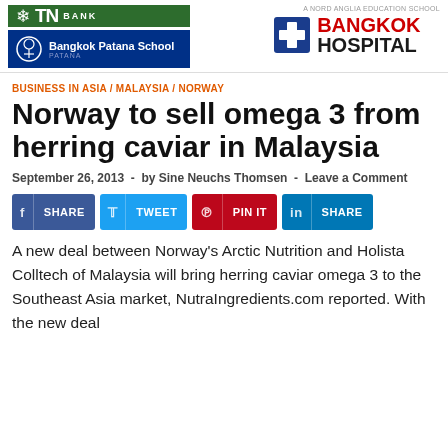[Figure (logo): TN Bank green logo with snowflake symbol]
[Figure (logo): Bangkok Patana School blue logo with circular emblem]
[Figure (logo): A Nord Anglia Education School text label]
[Figure (logo): Bangkok Hospital logo with red cross and bold text]
BUSINESS IN ASIA / MALAYSIA / NORWAY
Norway to sell omega 3 from herring caviar in Malaysia
September 26, 2013  -  by Sine Neuchs Thomsen  -  Leave a Comment
[Figure (infographic): Social share buttons: SHARE (Facebook), TWEET (Twitter), PIN IT (Pinterest), SHARE (LinkedIn)]
A new deal between Norway's Arctic Nutrition and Holista Colltech of Malaysia will bring herring caviar omega 3 to the Southeast Asia market, NutraIngredients.com reported. With the new deal